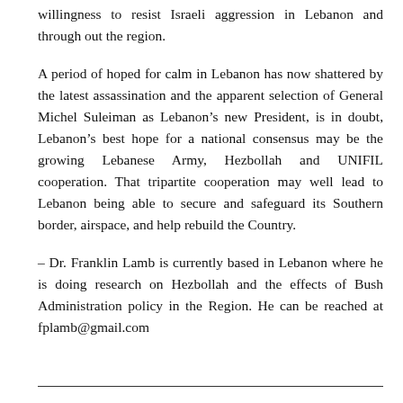willingness to resist Israeli aggression in Lebanon and through out the region.
A period of hoped for calm in Lebanon has now shattered by the latest assassination and the apparent selection of General Michel Suleiman as Lebanon’s new President, is in doubt, Lebanon’s best hope for a national consensus may be the growing Lebanese Army, Hezbollah and UNIFIL cooperation. That tripartite cooperation may well lead to Lebanon being able to secure and safeguard its Southern border, airspace, and help rebuild the Country.
– Dr. Franklin Lamb is currently based in Lebanon where he is doing research on Hezbollah and the effects of Bush Administration policy in the Region. He can be reached at fplamb@gmail.com